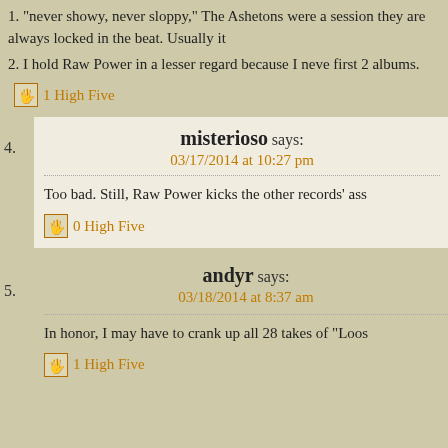1. "never showy, never sloppy," The Ashetons were a session they are always locked in the beat. Usually it
2. I hold Raw Power in a lesser regard because I never first 2 albums.
1 High Five
4. misterioso says: 03/17/2014 at 10:27 pm
Too bad. Still, Raw Power kicks the other records' ass
0 High Five
5. andyr says: 03/18/2014 at 8:37 am
In honor, I may have to crank up all 28 takes of "Loos
1 High Five